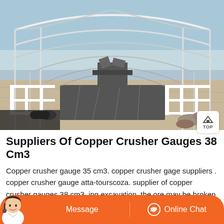[Figure (photo): Construction site photo showing a large greenhouse or industrial structure with metal frame arches, walkways, and sandy/earthen floor. Heavy equipment visible in the background.]
Suppliers Of Copper Crusher Gauges 38 Cm3
Copper crusher gauge 35 cm3. copper crusher gage suppliers . copper crusher gauge atta-tourscoza. supplier of copper crusher gauges 38 cm3, ing excavation, the ore may be broken up in an underground crusher or hauled, sizes AWG American Wire Gauge